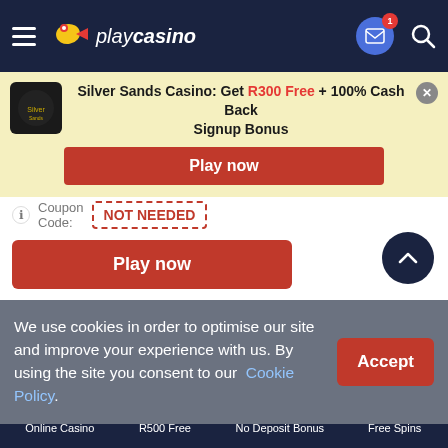playcasino navigation bar with hamburger menu, logo, mail icon with badge 1, and search icon
Silver Sands Casino: Get R300 Free + 100% Cash Back Signup Bonus
Play now
Coupon Code: NOT NEEDED
Play now
We use cookies in order to optimise our site and improve your experience with us. By using the site you consent to our Cookie Policy.
Accept
Online Casino | R500 Free | No Deposit Bonus | Free Spins